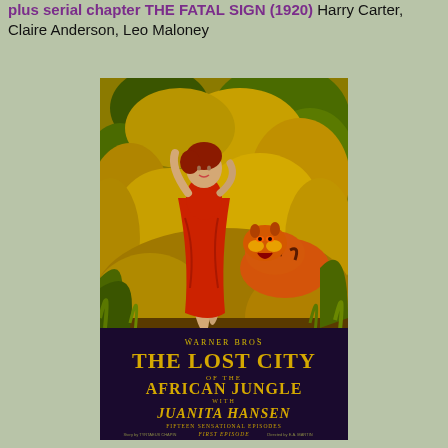plus serial chapter THE FATAL SIGN (1920) Harry Carter, Claire Anderson, Leo Maloney
[Figure (illustration): Vintage movie poster for 'The Lost City of the African Jungle' (1920), a Warner Bros serial featuring Juanita Hansen. Shows a woman in a red dress fleeing a tiger in a jungle setting. Text on poster reads: WARNER BROS, THE LOST CITY OF THE AFRICAN JUNGLE WITH JUANITA HANSEN, FIFTEEN SENSATIONAL EPISODES, FIRST EPISODE: THE LOST PRINCESS.]